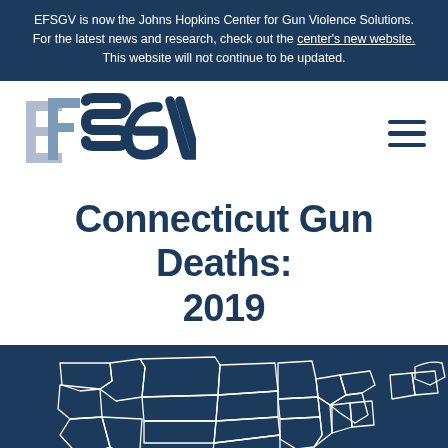EFSGV is now the Johns Hopkins Center for Gun Violence Solutions. For the latest news and research, check out the center's new website. This website will not continue to be updated.
[Figure (logo): EFSGV logo in blue and light blue tones]
Connecticut Gun Deaths: 2019
[Figure (map): Outline map of the United States on dark navy blue background, white line borders]
DONATE